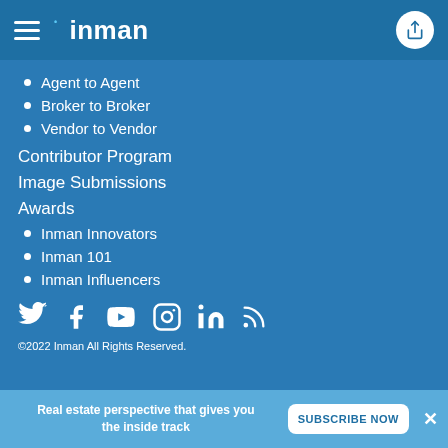inman
Agent to Agent
Broker to Broker
Vendor to Vendor
Contributor Program
Image Submissions
Awards
Inman Innovators
Inman 101
Inman Influencers
[Figure (other): Social media icons: Twitter, Facebook, YouTube, Instagram, LinkedIn, RSS]
©2022 Inman All Rights Reserved.
Real estate perspective that gives you the inside track
SUBSCRIBE NOW